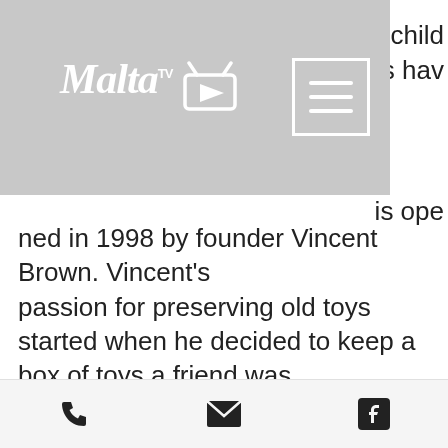Malta TV [logo with navigation hamburger menu]
e child ys hav is opened in 1998 by founder Vincent Brown. Vincent's passion for preserving old toys started when he decided to keep a box of toys a friend was throwing away.
The toys were not up to present health and safety standards, so instead of giving them to his own children as he had originally intended, Vincent restored them and started a c ollection of
[phone icon] [email icon] [facebook icon]